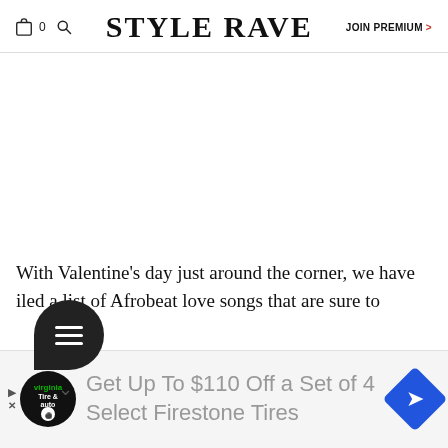STYLE RAVE | JOIN PREMIUM >
With Valentine's day just around the corner, we have compiled a list of Afrobeat love songs that are sure to
[Figure (other): Advertisement banner: Get Up To $110 Off a Set of 4 Select Firestone Tires]